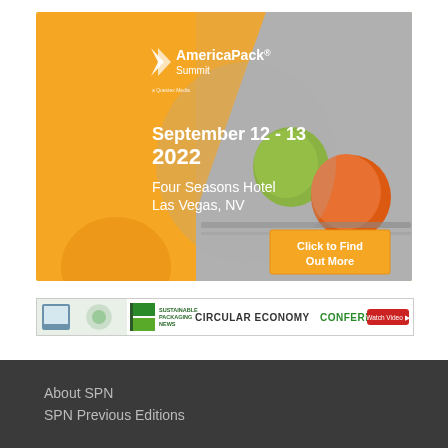[Figure (infographic): AmericaPack Summit advertisement banner. Orange background with a photo of fruits on a conveyor belt. Text reads: AmericaPack Summit, September 12 - 13 2022, Four Seasons Hotel Las Vegas, NV. Orange button: Click to Find Out More.]
[Figure (infographic): Sustainable Packaging News banner ad for Circular Economy Conference with Watch Video button.]
About SPN
SPN Previous Editions